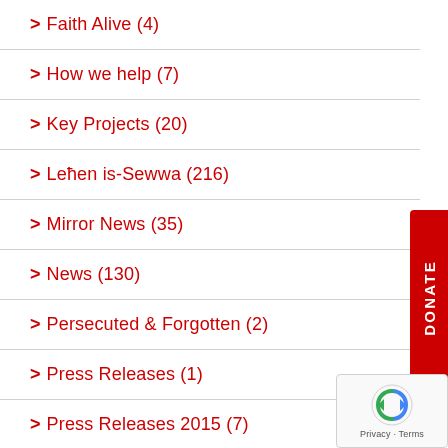Faith Alive (4)
How we help (7)
Key Projects (20)
Leħen is-Sewwa (216)
Mirror News (35)
News (130)
Persecuted & Forgotten (2)
Press Releases (1)
Press Releases 2015 (7)